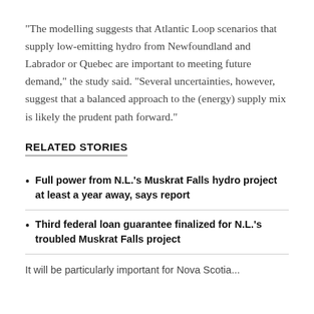"The modelling suggests that Atlantic Loop scenarios that supply low-emitting hydro from Newfoundland and Labrador or Quebec are important to meeting future demand," the study said. "Several uncertainties, however, suggest that a balanced approach to the (energy) supply mix is likely the prudent path forward."
RELATED STORIES
Full power from N.L.'s Muskrat Falls hydro project at least a year away, says report
Third federal loan guarantee finalized for N.L.'s troubled Muskrat Falls project
It will be particularly important for Nova Scotia...